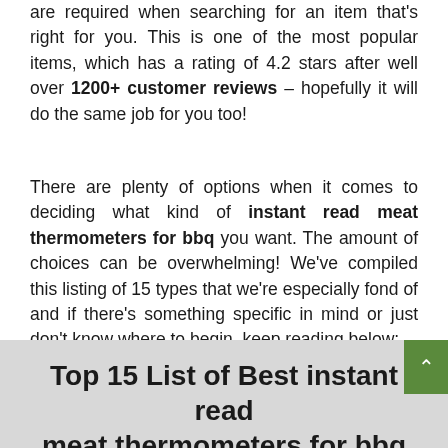are required when searching for an item that's right for you. This is one of the most popular items, which has a rating of 4.2 stars after well over 1200+ customer reviews – hopefully it will do the same job for you too!
There are plenty of options when it comes to deciding what kind of instant read meat thermometers for bbq you want. The amount of choices can be overwhelming! We've compiled this listing of 15 types that we're especially fond of and if there's something specific in mind or just don't know where to begin, keep reading below:
Top 15 List of Best instant read meat thermometers for bbq is given